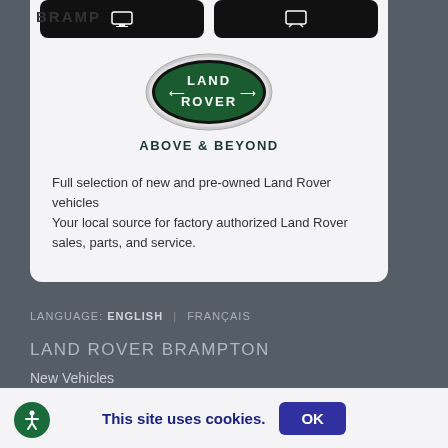BRAMP
[Figure (logo): Land Rover oval logo with green background and white text, ABOVE & BEYOND tagline]
ABOVE & BEYOND
Full selection of new and pre-owned Land Rover vehicles
Your local source for factory authorized Land Rover sales, parts, and service.
LANGUAGE: ENGLISH | FRANÇAIS
LAND ROVER BRAMPTON
New Vehicles
Pre-Owned Vehicles
Special Offers
This site uses cookies.